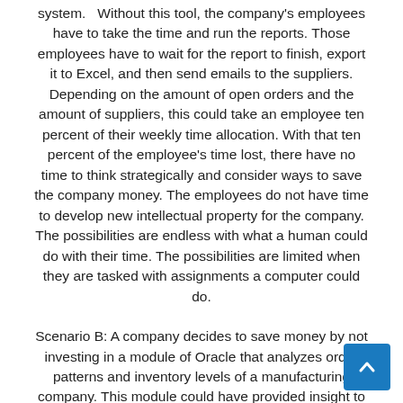system.   Without this tool, the company's employees have to take the time and run the reports. Those employees have to wait for the report to finish, export it to Excel, and then send emails to the suppliers. Depending on the amount of open orders and the amount of suppliers, this could take an employee ten percent of their weekly time allocation. With that ten percent of the employee's time lost, there have no time to think strategically and consider ways to save the company money. The employees do not have time to develop new intellectual property for the company. The possibilities are endless with what a human could do with their time. The possibilities are limited when they are tasked with assignments a computer could do.
Scenario B: A company decides to save money by not investing in a module of Oracle that analyzes order patterns and inventory levels of a manufacturing company. This module could have provided insight to